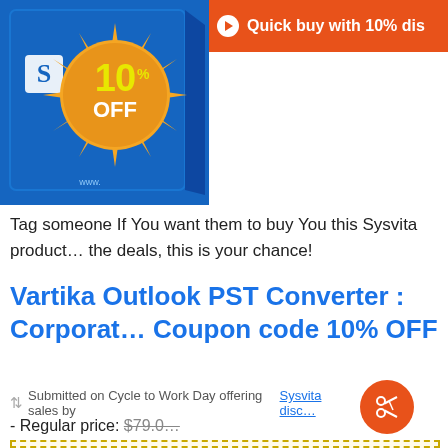[Figure (screenshot): Software product box (blue box with S logo and orange starburst showing 10% OFF)]
Quick buy with 10% dis…
Tag someone If You want them to buy You this Sysvita product… the deals, this is your chance!
Vartika Outlook PST Converter : Corporate Coupon code 10% OFF
Submitted on Cycle to Work Day offering sales by Sysvita disco…
- Regular price: $79.0… - Discounted price: $71.0 (save…)